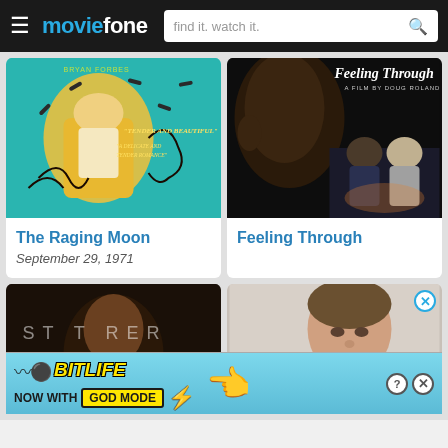moviefone — find it. watch it.
[Figure (photo): Movie poster for The Raging Moon, illustrated teal background with figures and text 'Tender and Beautiful', 'A Delicate and Tender Romance']
The Raging Moon
September 29, 1971
[Figure (photo): Movie poster for Feeling Through, dark photo of two people sitting, text 'Feeling Through — A Film by Doug Roland']
Feeling Through
[Figure (photo): Movie poster for Stutterer, dark moody portrait with film title text]
[Figure (photo): Photo of a man in a grey t-shirt against light background]
[Figure (screenshot): Advertisement banner for BitLife game: 'NOW WITH GOD MODE' with lightning bolt graphic and hand pointing finger emoji]